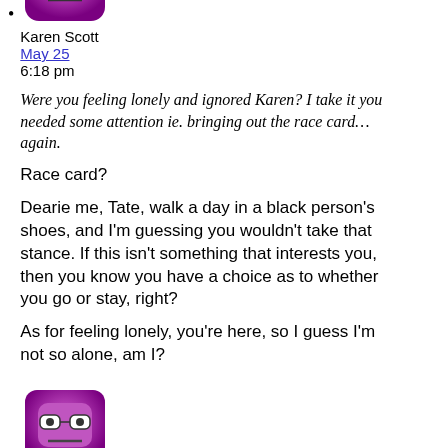[Figure (illustration): Purple cartoon character avatar (partially visible at top)]
Karen Scott
May 25
6:18 pm
Were you feeling lonely and ignored Karen? I take it you needed some attention ie. bringing out the race card…again.
Race card?
Dearie me, Tate, walk a day in a black person's shoes, and I'm guessing you wouldn't take that stance. If this isn't something that interests you, then you know you have a choice as to whether you go or stay, right?
As for feeling lonely, you're here, so I guess I'm not so alone, am I?
[Figure (illustration): Purple cartoon character avatar with glasses and neutral expression]
Karen Scott
May 25